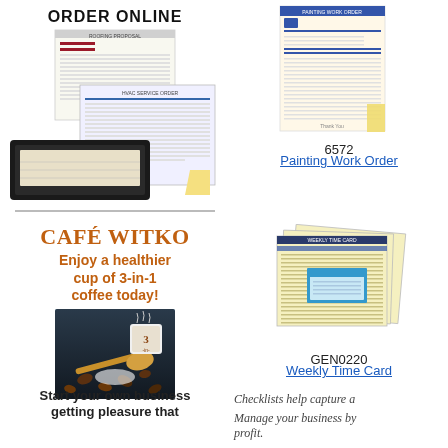[Figure (infographic): ORDER ONLINE SECTION OF WEBSITE! banner with document and checkbook images in top-left]
[Figure (illustration): Café Witko - Enjoy a healthier cup of 3-in-1 coffee today! with coffee product image]
Start your own business getting pleasure that
[Figure (illustration): Painting Work Order product image - form document image]
6572
Painting Work Order
[Figure (illustration): Weekly Time Card product image - yellow ruled forms]
GEN0220
Weekly Time Card
Checklists help capture a
Manage your business by profit.